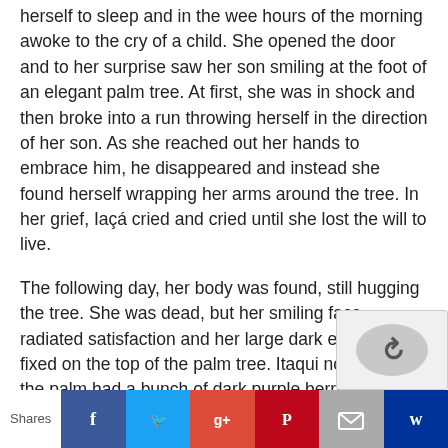herself to sleep and in the wee hours of the morning awoke to the cry of a child. She opened the door and to her surprise saw her son smiling at the foot of an elegant palm tree. At first, she was in shock and then broke into a run throwing herself in the direction of her son. As she reached out her hands to embrace him, he disappeared and instead she found herself wrapping her arms around the tree. In her grief, Iaçá cried and cried until she lost the will to live.
The following day, her body was found, still hugging the tree. She was dead, but her smiling face radiated satisfaction and her large dark eyes were fixed on the top of the palm tree. Itaqui noted that the palm had a bunch of dark purple berries where Iaçá gaze was fixed. He ordered that the berries be gathered at once and inspected. A deep, dark purple juice was extracted
Shares [Facebook] [Twitter] [Google+] [Pinterest] [Email] [Bookmark]